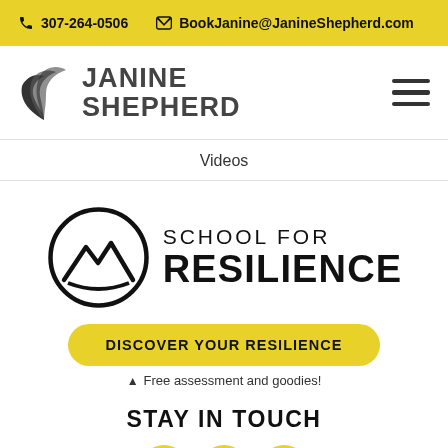307-264-0506  BookJanine@JanineShepherd.com
[Figure (logo): Janine Shepherd logo with wing icon and text 'JANINE SHEPHERD']
Videos
[Figure (logo): School for Resilience logo with mountain circle icon and text 'SCHOOL FOR RESILIENCE']
DISCOVER YOUR RESILIENCE
Free assessment and goodies!
STAY IN TOUCH
[Figure (illustration): Three yellow social media circles partially visible at bottom of page]